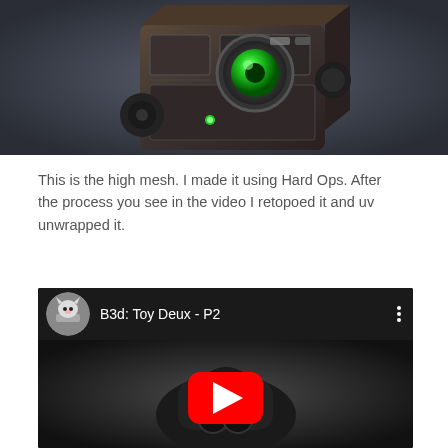[Figure (illustration): 3D rendered sci-fi mechanical cube with dark metallic textures, a large green circular lens/eye in the center, mechanical gears on the side, and green LED indicators. Rendered against a dark gray background.]
This is the high mesh. I made it using Hard Ops. After the process you see in the video I retopoed it and uv unwrapped it.
[Figure (screenshot): YouTube video embed showing 'B3d: Toy Deux - P2' with a cat avatar thumbnail, a dark mechanical robot vehicle image as the video thumbnail, and a red YouTube play button in the center.]